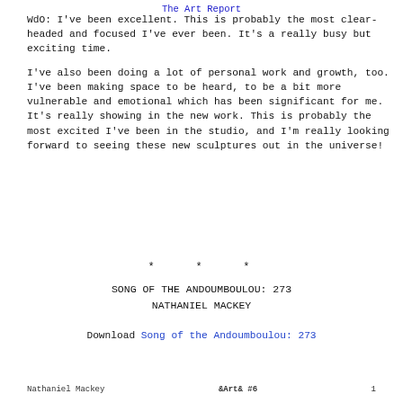The Art Report
WdO: I've been excellent. This is probably the most clear-headed and focused I've ever been. It's a really busy but exciting time.
I've also been doing a lot of personal work and growth, too. I've been making space to be heard, to be a bit more vulnerable and emotional which has been significant for me. It's really showing in the new work. This is probably the most excited I've been in the studio, and I'm really looking forward to seeing these new sculptures out in the universe!
* * *
SONG OF THE ANDOUMBOULOU: 273
NATHANIEL MACKEY
Download Song of the Andoumboulou: 273
Nathaniel Mackey    &Art& #6    1